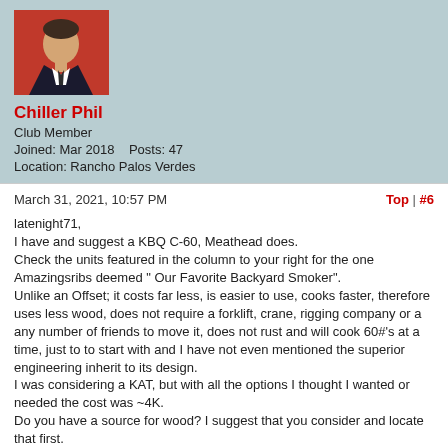[Figure (photo): Profile photo of a man in a suit with red background]
Chiller Phil
Club Member
Joined: Mar 2018    Posts: 47
Location: Rancho Palos Verdes
March 31, 2021, 10:57 PM
Top | #6
latenight71,
I have and suggest a KBQ C-60, Meathead does.
Check the units featured in the column to your right for the one Amazingsribs deemed " Our Favorite Backyard Smoker".
Unlike an Offset; it costs far less, is easier to use, cooks faster, therefore uses less wood, does not require a forklift, crane, rigging company or a any number of friends to move it, does not rust and will cook 60#'s at a time, just to to start with and I have not even mentioned the superior engineering inherit to its design.
I was considering a KAT, but with all the options I thought I wanted or needed the cost was ~4K.
Do you have a source for wood? I suggest that you consider and locate that first.
I am relatively local to you and fuel cost was a significant consideration in whether or not I transitioned from a UDS to a "Stickburner".